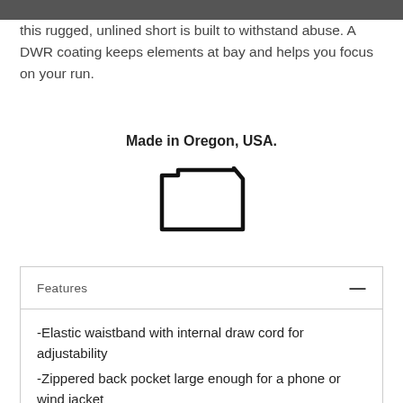this rugged, unlined short is built to withstand abuse. A DWR coating keeps elements at bay and helps you focus on your run.
Made in Oregon, USA.
[Figure (illustration): Outline silhouette of the state of Oregon]
Features
-Elastic waistband with internal draw cord for adjustability
-Zippered back pocket large enough for a phone or wind jacket
-5.5" inseam